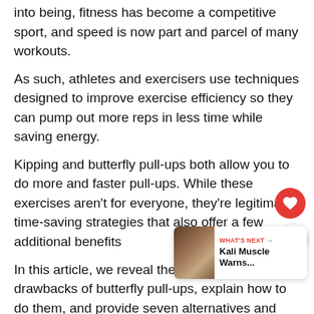into being, fitness has become a competitive sport, and speed is now part and parcel of many workouts.
As such, athletes and exercisers use techniques designed to improve exercise efficiency so they can pump out more reps in less time while saving energy.
Kipping and butterfly pull-ups both allow you to do more and faster pull-ups. While these exercises aren't for everyone, they're legitimate time-saving strategies that also offer a few additional benefits
In this article, we reveal the benefits and drawbacks of butterfly pull-ups, explain how to do them, and provide seven alternatives and variations.